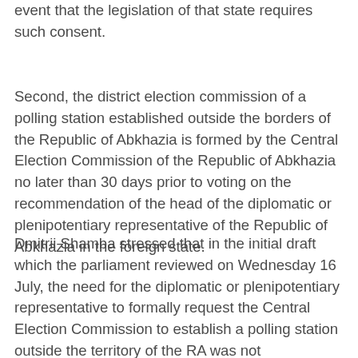event that the legislation of that state requires such consent.
Second, the district election commission of a polling station established outside the borders of the Republic of Abkhazia is formed by the Central Election Commission of the Republic of Abkhazia no later than 30 days prior to voting on the recommendation of the head of the diplomatic or plenipotentiary representative of the Republic of Abkhazia in the foreign state.
Dmitrii Shamba stressed that in the initial draft which the parliament reviewed on Wednesday 16 July, the need for the diplomatic or plenipotentiary representative to formally request the Central Election Commission to establish a polling station outside the territory of the RA was not